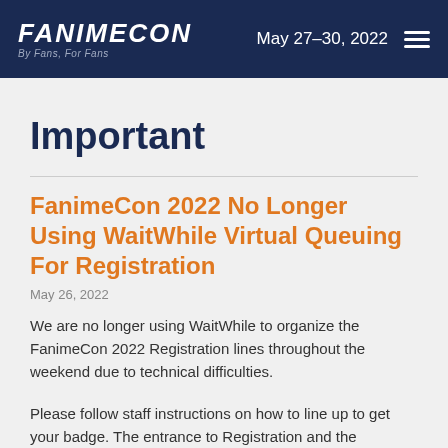FanimeCon — By Fans, For Fans | May 27–30, 2022
Important
FanimeCon 2022 No Longer Using WaitWhile Virtual Queuing For Registration
May 26, 2022
We are no longer using WaitWhile to organize the FanimeCon 2022 Registration lines throughout the weekend due to technical difficulties.
Please follow staff instructions on how to line up to get your badge. The entrance to Registration and the vaccination check can be found at the entrance of the San Jose Convention Center on San Carlos by the Idea Tree and the